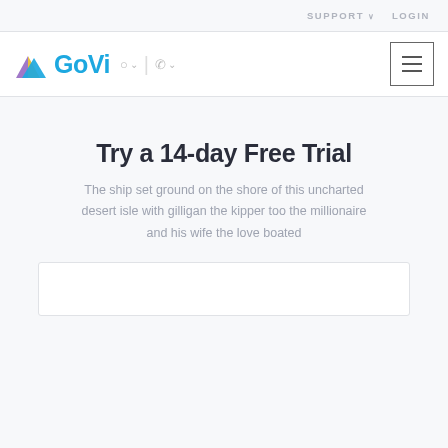SUPPORT ∨  LOGIN
[Figure (logo): GoVi logo with triangle icon, globe and phone icons, hamburger menu button]
Try a 14-day Free Trial
The ship set ground on the shore of this uncharted desert isle with gilligan the kipper too the millionaire and his wife the love boated